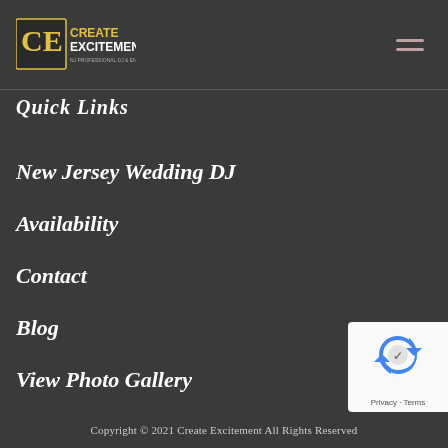CE Create Excitement - NJ Professional DJ & Entertainment Service
Quick Links
New Jersey Wedding DJ
Availability
Contact
Blog
View Photo Gallery
Privacy Policy
[Figure (logo): reCAPTCHA badge with Google logo and Privacy/Terms links]
Copyright © 2021 Create Excitement All Rights Reserved